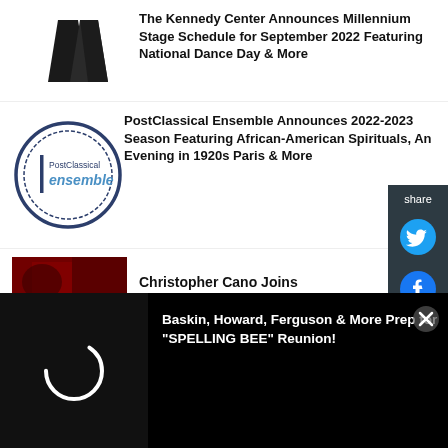[Figure (logo): Kennedy Center logo - two dark angular shapes forming a stylized K]
The Kennedy Center Announces Millennium Stage Schedule for September 2022 Featuring National Dance Day & More
[Figure (logo): PostClassical Ensemble circular logo with text 'PostClassical ensemble' inside a dark blue circle outline]
PostClassical Ensemble Announces 2022-2023 Season Featuring African-American Spirituals, An Evening in 1920s Paris & More
[Figure (photo): Dark red/crimson photo thumbnail for Christopher Cano story]
Christopher Cano Joins
MORE HOT STORIES FOR YOU
[Figure (other): Loading spinner (arc) on black background]
Baskin, Howard, Ferguson & More Prep for "SPELLING BEE" Reunion!